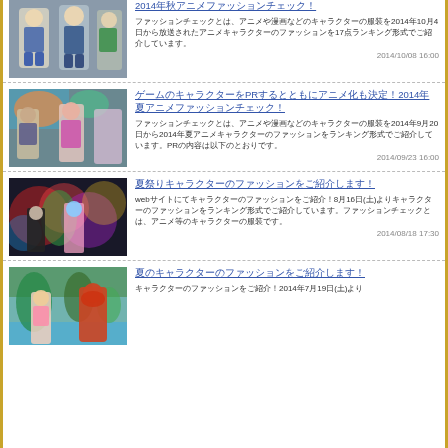2014年秋アニメファッションチェック！
ファッションチェックとは、アニメや漫画などのキャラクターの服装を2014年10月4日から放送されたアニメキャラクターのファッションを17点ランキング形式でご紹介しています。
2014/10/08 16:00
ゲームのキャラクターをPRするとともにアニメ化も決定！2014年夏アニメファッションチェック！
ファッションチェックとは、アニメや漫画などのキャラクターの服装を2014年9月20日から2014年夏アニメキャラクターのファッションをランキング形式でご紹介しています。PRの内容は以下のとおりです。
2014/09/23 16:00
夏祭りキャラクターのファッションをご紹介します！
webサイトにてキャラクターのファッションをご紹介！8月16日(土)よりキャラクターのファッションをランキング形式でご紹介しています。ファッションチェックとは、アニメ等のキャラクターの服装です。
2014/08/18 17:30
夏のキャラクターのファッションをご紹介します！
キャラクターのファッションをご紹介！2014年7月19日(土)より